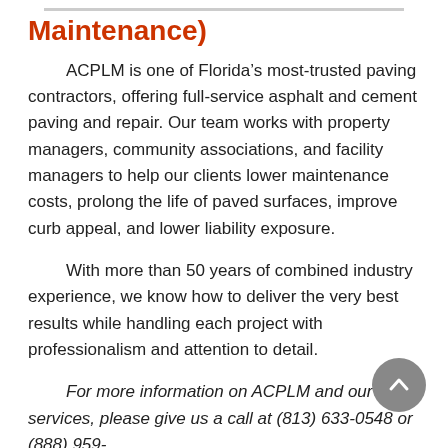Maintenance)
ACPLM is one of Florida’s most-trusted paving contractors, offering full-service asphalt and cement paving and repair. Our team works with property managers, community associations, and facility managers to help our clients lower maintenance costs, prolong the life of paved surfaces, improve curb appeal, and lower liability exposure.
With more than 50 years of combined industry experience, we know how to deliver the very best results while handling each project with professionalism and attention to detail.
For more information on ACPLM and our services, please give us a call at (813) 633-0548 or (888) 959-